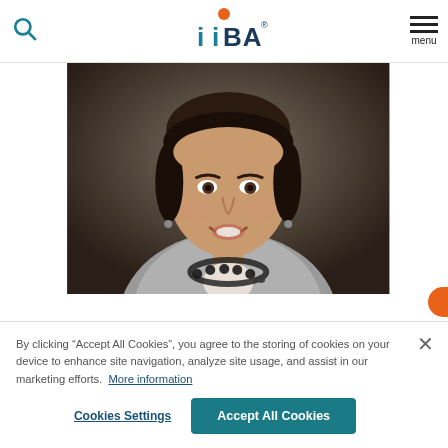IIBA website header with search icon, IIBA logo, and menu icon
[Figure (photo): Professional headshot of a woman with dark hair pulled back, wearing a grey blazer and black beaded necklace, smiling at the camera against a dark background]
By clicking “Accept All Cookies”, you agree to the storing of cookies on your device to enhance site navigation, analyze site usage, and assist in our marketing efforts. More information
Cookies Settings
Accept All Cookies